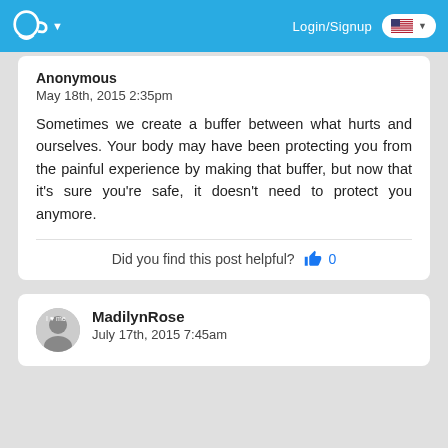Login/Signup
Anonymous
May 18th, 2015 2:35pm
Sometimes we create a buffer between what hurts and ourselves. Your body may have been protecting you from the painful experience by making that buffer, but now that it's sure you're safe, it doesn't need to protect you anymore.
Did you find this post helpful? 0
MadilynRose
July 17th, 2015 7:45am